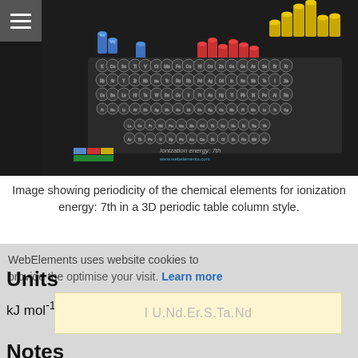[Figure (photo): 3D periodic table showing ionization energy 7th, with columns of different heights colored by category (grey, blue, red, yellow). Legend showing color bands and label 'Ionization energy: 7th' and 'www.webelements.com'.]
Image showing periodicity of the chemical elements for ionization energy: 7th in a 3D periodic table column style.
WebElements uses website cookies to provide the optimise your visit. Learn more
Units
kJ mol⁻¹
I U.Nd.Er.S.Ta.Nd
Notes